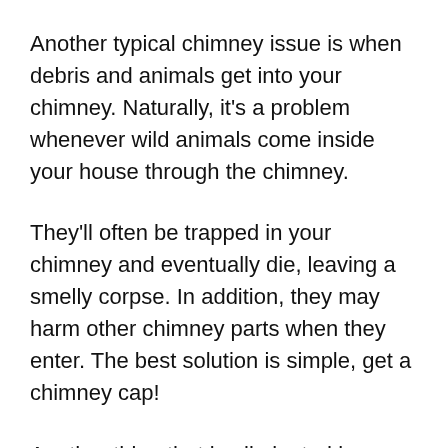Another typical chimney issue is when debris and animals get into your chimney. Naturally, it's a problem whenever wild animals come inside your house through the chimney.
They'll often be trapped in your chimney and eventually die, leaving a smelly corpse. In addition, they may harm other chimney parts when they enter. The best solution is simple, get a chimney cap!
Another thing that is eliminated by chimney caps is obstructions like branches and leaves. The chimney's interior needs to remain as straightforward as possible so that you can relax